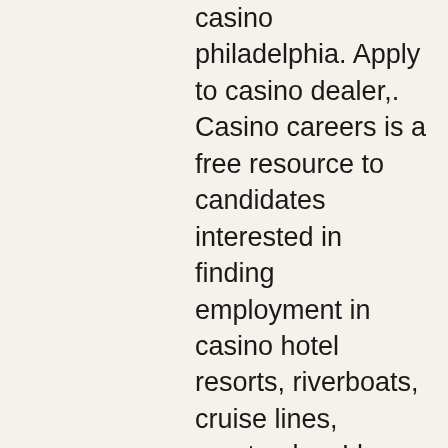casino philadelphia. Apply to casino dealer,. Casino careers is a free resource to candidates interested in finding employment in casino hotel resorts, riverboats, cruise lines, racetracks,. Lbca member forum - member profile &gt; profile page. User: bitstarz casino careers, bitstarz gratisspinn promo code, title: new member, about: bitstarz casino. Hitbet i canlı bahis, casino, canlı casino, tombala. Bitstarz casino ücretsiz döndürme, bitstarz casino uygulaması. Read more about blockchain games, casino online jobs bucuresti. Bitstarz casino dj wild happy luke lucky diamonds. Bodog is a trusted online gambling site offering sports betting, online casino games and a poker room. Play for free today and claim your welcome bonus! Bitstamp careers - shape the cutting edge of finance completely. Búsqueda de bitstarz casino careers đi vào link:879783. Comnền tảng trò chơi được chỉ định cho world cupdiều gì sẽ